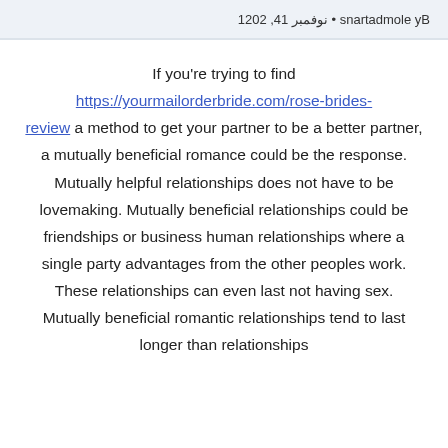By elomdatrans • نوفمبر 14, 2021
If you're trying to find https://yourmailorderbride.com/rose-brides-review a method to get your partner to be a better partner, a mutually beneficial romance could be the response. Mutually helpful relationships does not have to be lovemaking. Mutually beneficial relationships could be friendships or business human relationships where a single party advantages from the other peoples work. These relationships can even last not having sex. Mutually beneficial romantic relationships tend to last longer than relationships